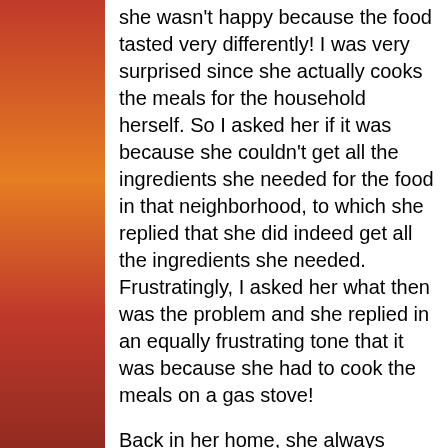she wasn't happy because the food tasted very differently! I was very surprised since she actually cooks the meals for the household herself. So I asked her if it was because she couldn't get all the ingredients she needed for the food in that neighborhood, to which she replied that she did indeed get all the ingredients she needed. Frustratingly, I asked her what then was the problem and she replied in an equally frustrating tone that it was because she had to cook the meals on a gas stove!
Back in her home, she always cooked on a coal pot that used charcoal but in the city where my auntie lives, she had to cook on a gas stove. She went on to complain bitterly about how the gas stove heats up the food differently than how the coal pot does, resulting in the different taste of